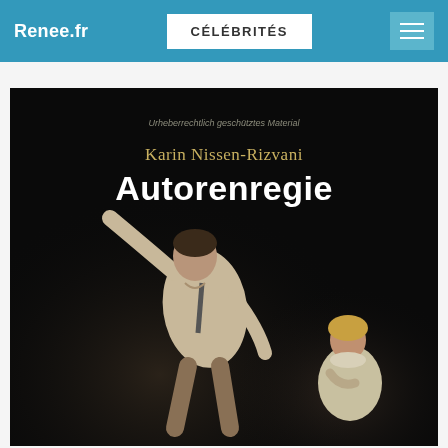Renee.fr | CÉLÉBRITÉS
10 EUR
[Figure (photo): Book cover of 'Autorenregie' by Karin Nissen-Rizvani. Dark background with two performers on stage — one in motion with arm raised, one seated in the background. Title text overlaid at top.]